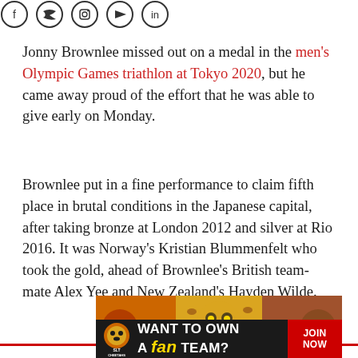[Figure (illustration): Partial view of social media icon outlines (circular icons for various social platforms) at the top of the page, cut off]
Jonny Brownlee missed out on a medal in the men's Olympic Games triathlon at Tokyo 2020, but he came away proud of the effort that he was able to give early on Monday.
Brownlee put in a fine performance to claim fifth place in brutal conditions in the Japanese capital, after taking bronze at London 2012 and silver at Rio 2016. It was Norway's Kristian Blummenfelt who took the gold, ahead of Brownlee's British team-mate Alex Yee and New Zealand's Hayden Wilde.
[Figure (photo): Advertisement for SLT Cheetahs fan team - colorful banner with cheetah mascot imagery, text reading WANT TO OWN A FAN TEAM? JOIN NOW]
[Figure (photo): Bottom banner advertisement: SLT Cheetahs logo on left, dark background with white bold text WANT TO OWN A FAN TEAM? and JOIN NOW button in red on right]